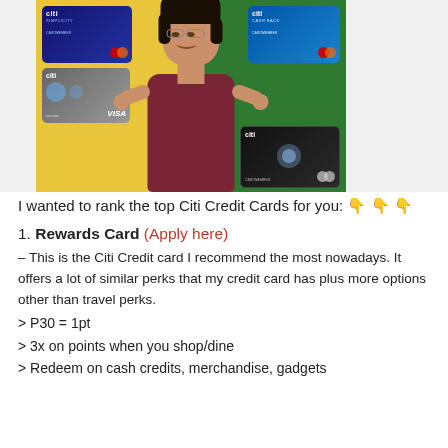[Figure (photo): A young woman smiling with arms outstretched, surrounded by several Citi credit cards (Simplicity, Cash Back, Premier, Prestige) against a yellow and green background.]
I wanted to rank the top Citi Credit Cards for you: 👇👇👇
1. Rewards Card (Apply here) – This is the Citi Credit card I recommend the most nowadays. It offers a lot of similar perks that my credit card has plus more options other than travel perks.
> P30 = 1pt
> 3x on points when you shop/dine
> Redeem on cash credits, merchandise, gadgets